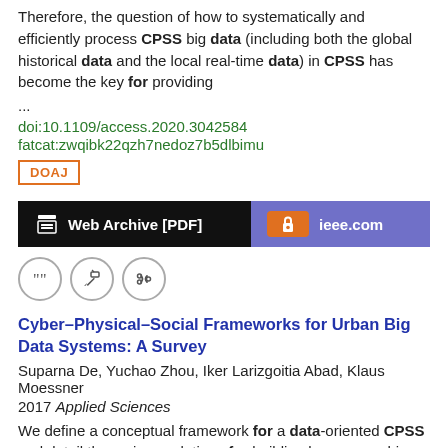Therefore, the question of how to systematically and efficiently process CPSS big data (including both the global historical data and the local real-time data) in CPSS has become the key for providing
...
doi:10.1109/access.2020.3042584
fatcat:zwqibk22qzh7nedoz7b5dlbimu
DOAJ
[Figure (other): Two buttons: 'Web Archive [PDF]' on black background and 'ieee.com' on purple background with orange lock icon]
[Figure (other): Three circular icon buttons: quote, edit, and link]
Cyber–Physical–Social Frameworks for Urban Big Data Systems: A Survey
Suparna De, Yuchao Zhou, Iker Larizgoitia Abad, Klaus Moessner
2017 Applied Sciences
We define a conceptual framework for a data-oriented CPSS and detail the various solutions for building human-machine intelligence.  ...  To gain an understanding of the existing methods and techniques which can be useful for a data-oriented CPSS implementation, this paper presents a survey of the existing